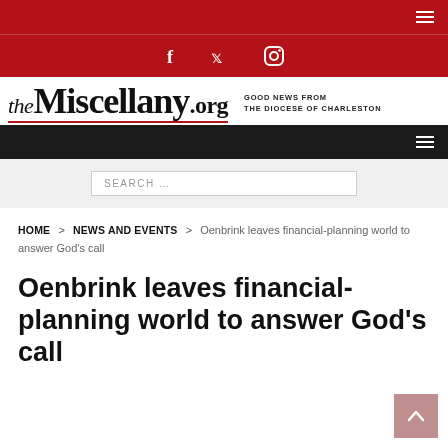[Figure (screenshot): Website header top bar with red background and hamburger menu icon]
[Figure (screenshot): Red social media bar with Facebook, Twitter, and Instagram icons]
[Figure (logo): theMiscellany.org logo with tagline 'Good News from the Diocese of Charleston']
[Figure (screenshot): Black navigation bar with hamburger menu icon]
[Figure (screenshot): Search bar with placeholder text SEARCH ...]
HOME > NEWS AND EVENTS > Oenbrink leaves financial-planning world to answer God's call
Oenbrink leaves financial-planning world to answer God's call